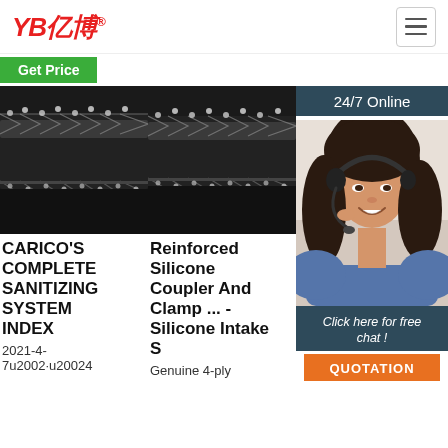YB亿博® [hamburger menu]
Get Price
[Figure (photo): Close-up of a black braided hydraulic hose (first card)]
[Figure (photo): Close-up of a black braided hydraulic hose (second card)]
[Figure (photo): 24/7 Online chat agent - woman with headset smiling]
CARICO'S COMPLETE SANITIZING SYSTEM INDEX
2021-4-7u2002·u20024
Reinforced Silicone Coupler And Clamp ... - Silicone Intake S
Genuine 4-ply
13 Mouse Pads in 2021 [Buying Guide]
2021-10-18u2002·u2002The Cmhoo XXL Reinforced Bri
Click here for free chat !
QUOTATION